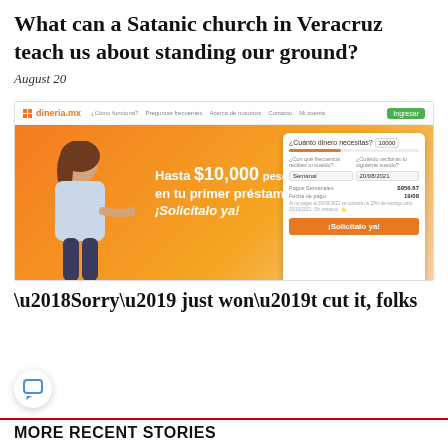What can a Satanic church in Veracruz teach us about standing our ground?
August 20
[Figure (screenshot): Screenshot of dineria.mx website showing a loan advertisement with orange background. Features a woman pointing, text 'Hasta $10,000 pesos en tu primer préstamo ¡Solicítalo ya!' and a loan calculator form card on the right.]
‘Sorry’ just won’t cut it, folks
MORE RECENT STORIES